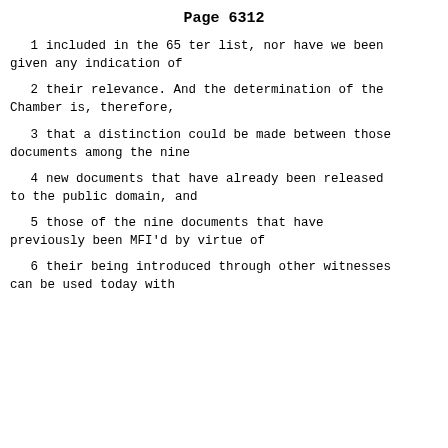Page 6312
1      included in the 65 ter list, nor have we been given any indication of
2      their relevance.  And the determination of the Chamber is, therefore,
3      that a distinction could be made between those documents among the nine
4      new documents that have already been released to the public domain, and
5      those of the nine documents that have previously been MFI'd by virtue of
6      their being introduced through other witnesses can be used today with